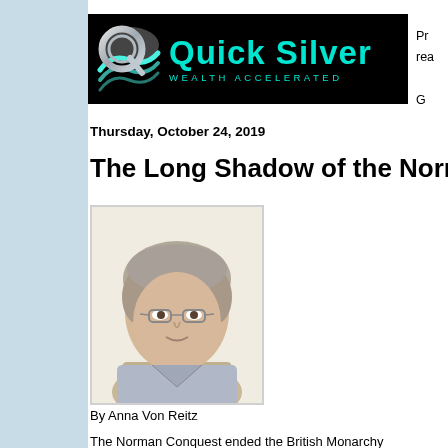[Figure (logo): Quick Silver Wealth Accelerated logo — black banner with teal/silver wave graphic and teal text]
Thursday, October 24, 2019
The Long Shadow of the Norman C
[Figure (photo): Headshot photo of an older woman with short gray hair and glasses, wearing a light blue/gray top]
By Anna Von Reitz
The Norman Conquest ended the British Monarchy